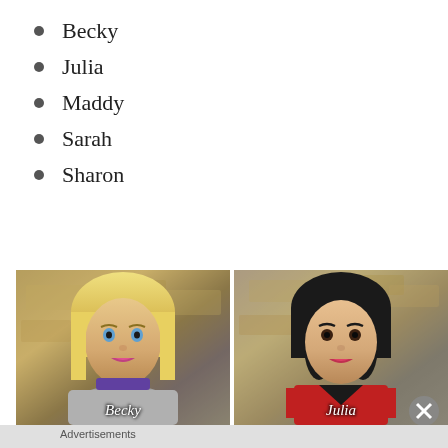Becky
Julia
Maddy
Sarah
Sharon
[Figure (photo): Photo of a blonde Barbie doll (Becky) with short bob haircut wearing gray fur, with stone wall background. Label 'Becky' at bottom.]
[Figure (photo): Photo of a dark-haired Barbie doll (Julia) with shoulder-length black hair wearing red and black outfit, with stone wall background. Label 'Julia' at bottom.]
Advertisements